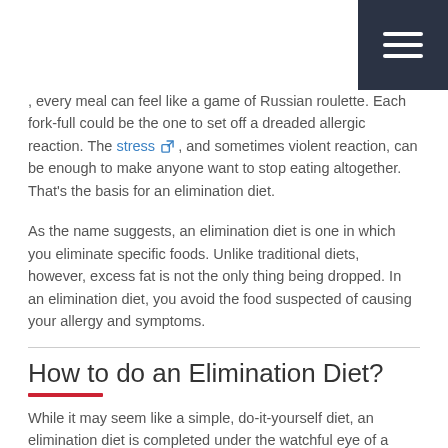, every meal can feel like a game of Russian roulette. Each fork-full could be the one to set off a dreaded allergic reaction. The stress , and sometimes violent reaction, can be enough to make anyone want to stop eating altogether. That's the basis for an elimination diet.
As the name suggests, an elimination diet is one in which you eliminate specific foods. Unlike traditional diets, however, excess fat is not the only thing being dropped. In an elimination diet, you avoid the food suspected of causing your allergy and symptoms.
How to do an Elimination Diet?
While it may seem like a simple, do-it-yourself diet, an elimination diet is completed under the watchful eye of a medical professional.
The next step of an elimination diet all is...